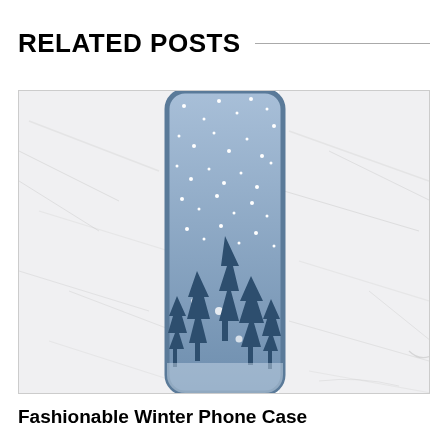RELATED POSTS
[Figure (photo): A phone case displayed against a white marble background. The phone case features a winter scene with dark blue silhouette pine trees in the foreground and a soft blue snowy sky with white falling snowflakes in the background.]
Fashionable Winter Phone Case